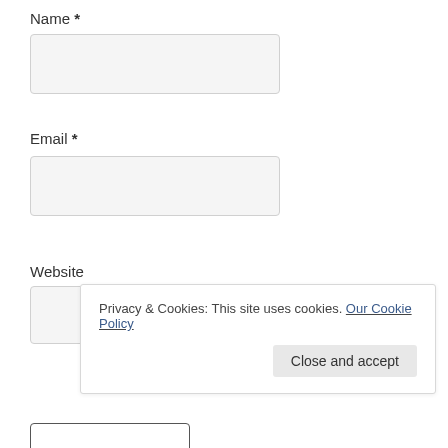Name *
[Figure (screenshot): Empty text input field for Name]
Email *
[Figure (screenshot): Empty text input field for Email]
Website
[Figure (screenshot): Partially visible text input field for Website]
Privacy & Cookies: This site uses cookies. Our Cookie Policy
Close and accept
[Figure (screenshot): Submit button (partially visible at bottom)]